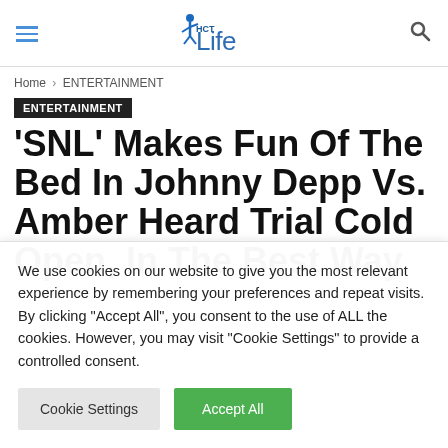HCT Life — navigation header with hamburger menu and search icon
Home › ENTERTAINMENT
ENTERTAINMENT
'SNL' Makes Fun Of The Bed In Johnny Depp Vs. Amber Heard Trial Cold Open, In The Best Way
We use cookies on our website to give you the most relevant experience by remembering your preferences and repeat visits. By clicking "Accept All", you consent to the use of ALL the cookies. However, you may visit "Cookie Settings" to provide a controlled consent.